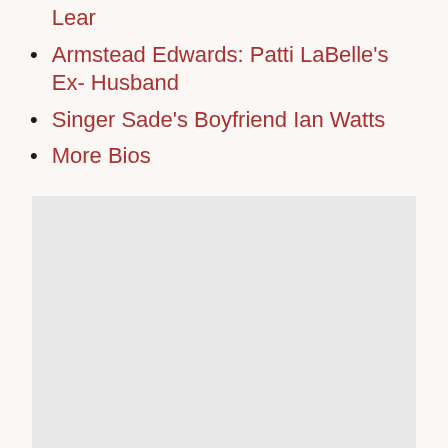Lear
Armstead Edwards: Patti LaBelle's Ex- Husband
Singer Sade's Boyfriend Ian Watts
More Bios
[Figure (other): Gray placeholder box at the bottom of the page]